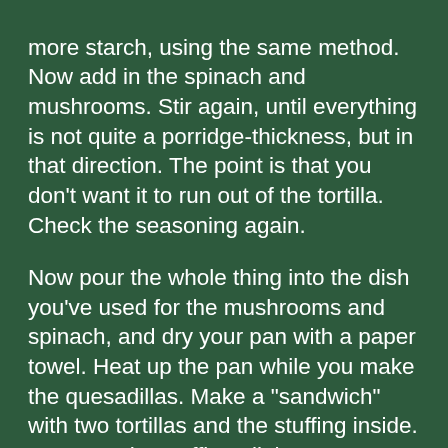more starch, using the same method. Now add in the spinach and mushrooms. Stir again, until everything is not quite a porridge-thickness, but in that direction. The point is that you don't want it to run out of the tortilla. Check the seasoning again. Now pour the whole thing into the dish you've used for the mushrooms and spinach, and dry your pan with a paper towel. Heat up the pan while you make the quesadillas. Make a "sandwich" with two tortillas and the stuffing inside. Don't put the stuffing all the way out to the edges. Toast the quesadilla on both sides on your hot pan. This works best on a cast iron pan, or probably on a steel pan. Otherwise cook the filling in a pan, and toast the quesadilla on a griddle. I'm just trying to save you some washing up. The text above is long, and I haven't tested it yet (I will!) but I'm pretty sure it will work and be easy to do. Maybe I am suggesting too much oat milk. When the oat milk is thickened, you can eyeball how much of it is needed for a